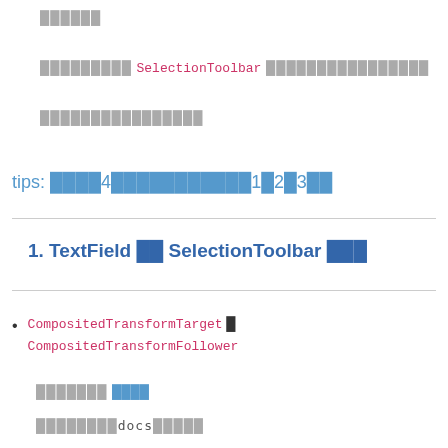██████
█████████ SelectionToolbar ████████████████
████████████████
tips: ████4███████████1█2█3██
1. TextField █ SelectionToolbar ████
CompositedTransformTarget █ CompositedTransformFollower
███████ ████
████████docs█████